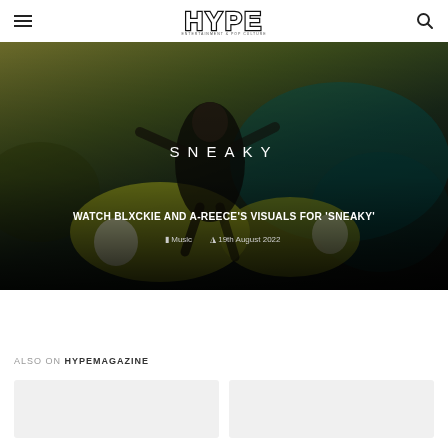HYPE
[Figure (photo): Hero image showing a person sitting on large yellow/green inflatable objects with text 'SNEAKY' overlaid, dark moody background with teal water tones. Bottom overlay shows article title and metadata.]
WATCH BLXCKIE AND A-REECE'S VISUALS FOR 'SNEAKY'
Music  19th August 2022
ALSO ON HYPEMAGAZINE